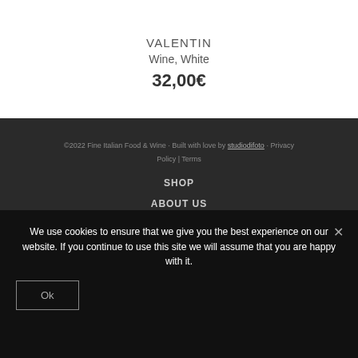VALENTIN
Wine, White
32,00€
©2022 Fine Italian Food & Wine · Built with love by studiodifoto · Privacy Policy | Terms
SHOP
ABOUT US
We use cookies to ensure that we give you the best experience on our website. If you continue to use this site we will assume that you are happy with it.
Ok